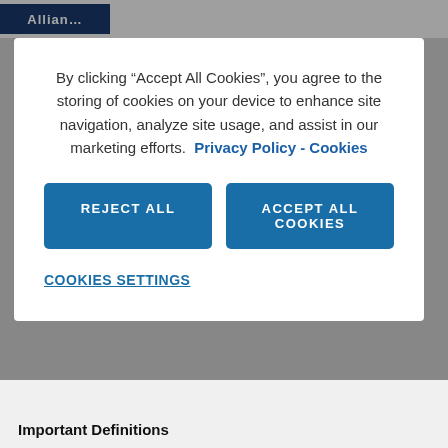[Figure (screenshot): Allianz logo in dark blue header bar at top left]
By clicking “Accept All Cookies”, you agree to the storing of cookies on your device to enhance site navigation, analyze site usage, and assist in our marketing efforts.  Privacy Policy - Cookies
REJECT ALL
ACCEPT ALL COOKIES
COOKIES SETTINGS
Important Definitions